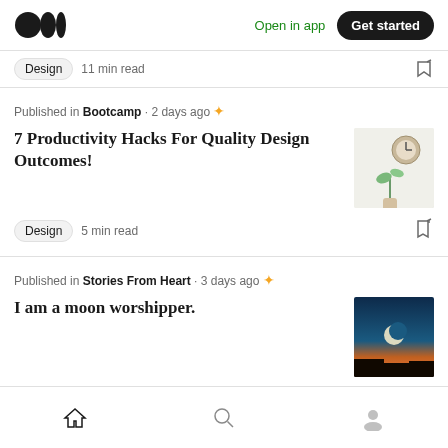Medium logo | Open in app | Get started
Design  11 min read
Published in Bootcamp · 2 days ago ✦
7 Productivity Hacks For Quality Design Outcomes!
Design  5 min read
Published in Stories From Heart · 3 days ago ✦
I am a moon worshipper.
Culture  4 min read
Home  Search  Profile